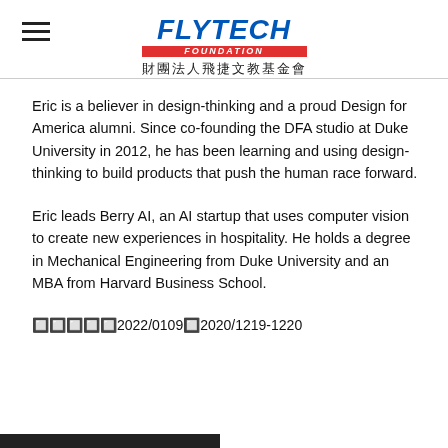FLYTECH FOUNDATION 財團法人飛捷文教基金會
Eric is a believer in design-thinking and a proud Design for America alumni. Since co-founding the DFA studio at Duke University in 2012, he has been learning and using design-thinking to build products that push the human race forward.
Eric leads Berry AI, an AI startup that uses computer vision to create new experiences in hospitality. He holds a degree in Mechanical Engineering from Duke University and an MBA from Harvard Business School.
🔲🔲🔲🔲🔲2022/0109🔲2020/1219-1220